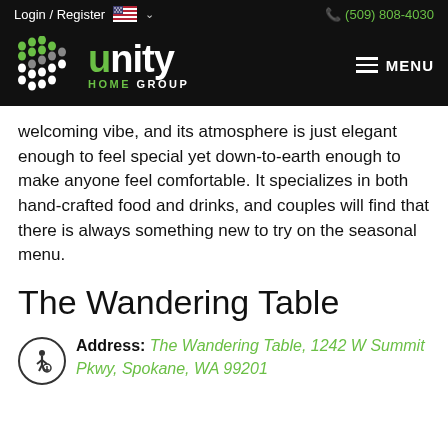Login / Register  (509) 808-4030
[Figure (logo): Unity Home Group logo with green and grey dot pattern icon and white text]
welcoming vibe, and its atmosphere is just elegant enough to feel special yet down-to-earth enough to make anyone feel comfortable. It specializes in both hand-crafted food and drinks, and couples will find that there is always something new to try on the seasonal menu.
The Wandering Table
Address: The Wandering Table, 1242 W Summit Pkwy, Spokane, WA 99201